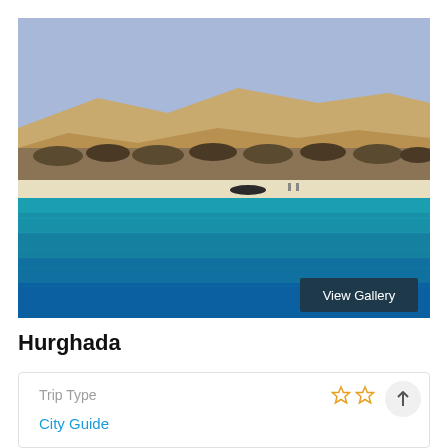[Figure (photo): Aerial/sea-level view of Hurghada beach with turquoise Red Sea water in foreground, white sandy beach, thatched-roof beach huts/umbrellas, sandy desert hills in background, clear blue sky. A 'View Gallery' button overlay appears in the bottom-right of the image.]
Hurghada
Trip Type
City Guide